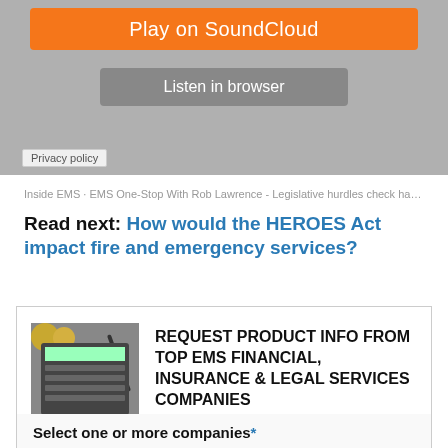[Figure (screenshot): SoundCloud widget with orange Play on SoundCloud button and grey Listen in browser button on grey background]
Privacy policy
Inside EMS · EMS One-Stop With Rob Lawrence - Legislative hurdles check hazard pay, PSO...
Read next: How would the HEROES Act impact fire and emergency services?
[Figure (photo): Calculator with coins and pen, representing financial services]
REQUEST PRODUCT INFO FROM TOP EMS FINANCIAL, INSURANCE & LEGAL SERVICES COMPANIES
Select one or more companies*
California Casualty